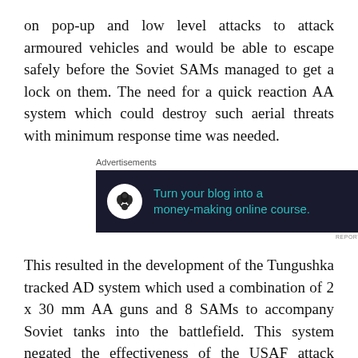on pop-up and low level attacks to attack armoured vehicles and would be able to escape safely before the Soviet SAMs managed to get a lock on them. The need for a quick reaction AA system which could destroy such aerial threats with minimum response time was needed.
[Figure (other): Advertisement banner with dark background showing 'Turn your blog into a money-making online course.' with a bonsai tree icon and arrow.]
This resulted in the development of the Tungushka tracked AD system which used a combination of 2 x 30 mm AA guns and 8 SAMs to accompany Soviet tanks into the battlefield. This system negated the effectiveness of the USAF attack aircraft and was capable of shooting them down with ease. The Tungushka was mass produced for the Soviet army